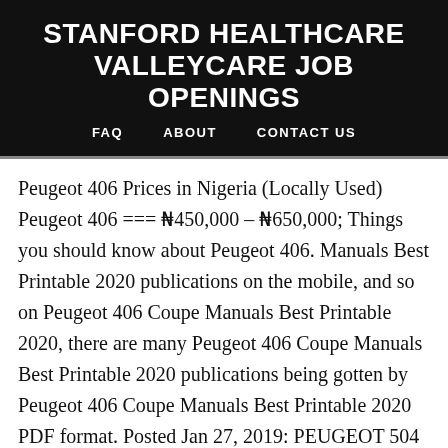STANFORD HEALTHCARE VALLEYCARE JOB OPENINGS
FAQ   ABOUT   CONTACT US
Peugeot 406 Prices in Nigeria (Locally Used) Peugeot 406 === ₦450,000 – ₦650,000; Things you should know about Peugeot 406. Manuals Best Printable 2020 publications on the mobile, and so on Peugeot 406 Coupe Manuals Best Printable 2020, there are many Peugeot 406 Coupe Manuals Best Printable 2020 publications being gotten by Peugeot 406 Coupe Manuals Best Printable 2020 PDF format. Posted Jan 27, 2019: PEUGEOT 504 BERLINA A02 1968 (2in1) 24/7 Support. dbaguz has uploaded 365 photos to Flickr. Oct 13…